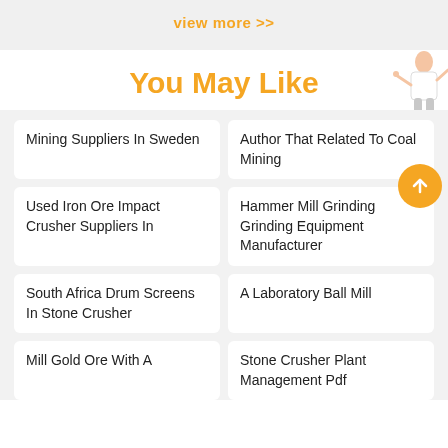view more >>
You May Like
Mining Suppliers In Sweden
Author That Related To Coal Mining
Used Iron Ore Impact Crusher Suppliers In
Hammer Mill Grinding Grinding Equipment Manufacturer
South Africa Drum Screens In Stone Crusher
A Laboratory Ball Mill
Mill Gold Ore With A
Stone Crusher Plant Management Pdf